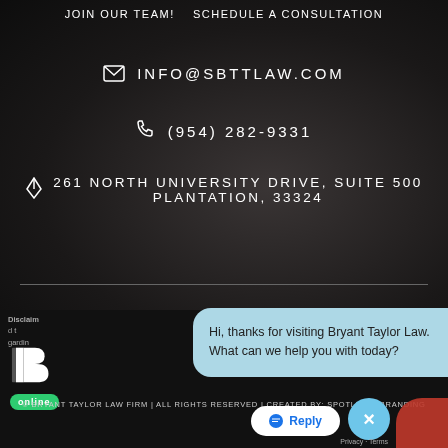JOIN OUR TEAM!    SCHEDULE A CONSULTATION
INFO@SBTTLAW.COM
(954) 282-9331
261 NORTH UNIVERSITY DRIVE, SUITE 500 PLANTATION, 33324
Disclaimer [partial text]
[Figure (logo): Bryant Taylor Law Firm logo B mark with 'online' badge]
Hi, thanks for visiting Bryant Taylor Law. What can we help you with today?
© BRYANT TAYLOR LAW FIRM | ALL RIGHTS RESERVED | CREATED BY: SPOTLIGHT BRANDING
Reply
Privacy · Terms